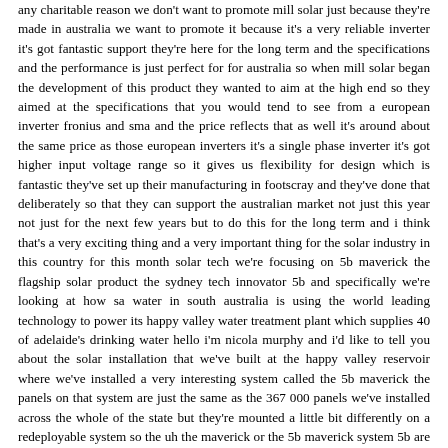any charitable reason we don't want to promote mill solar just because they're made in australia we want to promote it because it's a very reliable inverter it's got fantastic support they're here for the long term and the specifications and the performance is just perfect for for australia so when mill solar began the development of this product they wanted to aim at the high end so they aimed at the specifications that you would tend to see from a european inverter fronius and sma and the price reflects that as well it's around about the same price as those european inverters it's a single phase inverter it's got higher input voltage range so it gives us flexibility for design which is fantastic they've set up their manufacturing in footscray and they've done that deliberately so that they can support the australian market not just this year not just for the next few years but to do this for the long term and i think that's a very exciting thing and a very important thing for the solar industry in this country for this month solar tech we're focusing on 5b maverick the flagship solar product the sydney tech innovator 5b and specifically we're looking at how sa water in south australia is using the world leading technology to power its happy valley water treatment plant which supplies 40 of adelaide's drinking water hello i'm nicola murphy and i'd like to tell you about the solar installation that we've built at the happy valley reservoir where we've installed a very interesting system called the 5b maverick the panels on that system are just the same as the 367 000 panels we've installed across the whole of the state but they're mounted a little bit differently on a redeployable system so the uh the maverick or the 5b maverick system 5b are an australian manufacturer so they've designed that racking system here in australia so those panels are fully movable we were able to bring in the panels that had been previously mounted onto a racking system bring them on the back of a truck and roll them out in a day so that system at happy valley is around 30 000 panels this currently is the world's largest installation of this type of racking system and generates just about 16 000 megawatt hours of energy generation per annum and